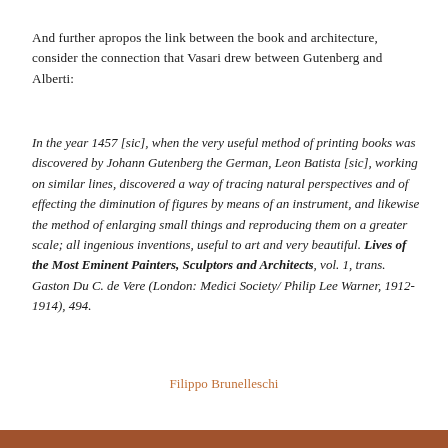And further apropos the link between the book and architecture, consider the connection that Vasari drew between Gutenberg and Alberti:
In the year 1457 [sic], when the very useful method of printing books was discovered by Johann Gutenberg the German, Leon Batista [sic], working on similar lines, discovered a way of tracing natural perspectives and of effecting the diminution of figures by means of an instrument, and likewise the method of enlarging small things and reproducing them on a greater scale; all ingenious inventions, useful to art and very beautiful. Lives of the Most Eminent Painters, Sculptors and Architects, vol. 1, trans. Gaston Du C. de Vere (London: Medici Society/ Philip Lee Warner, 1912-1914), 494.
Filippo Brunelleschi